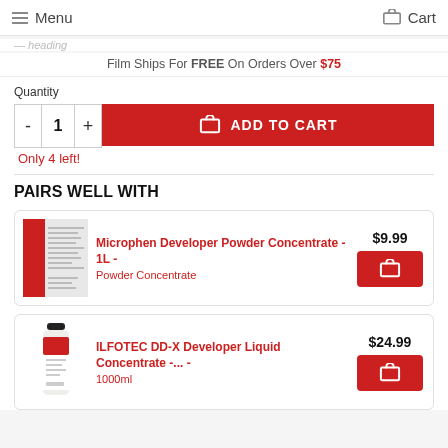Menu   Cart
Film Ships For FREE On Orders Over $75
Quantity
- 1 + ADD TO CART
Only 4 left!
PAIRS WELL WITH
Microphen Developer Powder Concentrate - 1L - Powder Concentrate  $9.99
ILFOTEC DD-X Developer Liquid Concentrate -... - 1000ml  $24.99